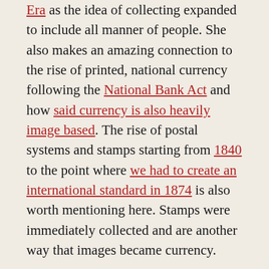Era as the idea of collecting expanded to include all manner of people. She also makes an amazing connection to the rise of printed, national currency following the National Bank Act and how said currency is also heavily image based. The rise of postal systems and stamps starting from 1840 to the point where we had to create an international standard in 1874 is also worth mentioning here. Stamps were immediately collected and are another way that images became currency.
Cartes de visite, stamps, autographs, etc all ended up being stored in albums and shown to visitors in ways that are shockingly familiar to any of us card collectors today. We have pages